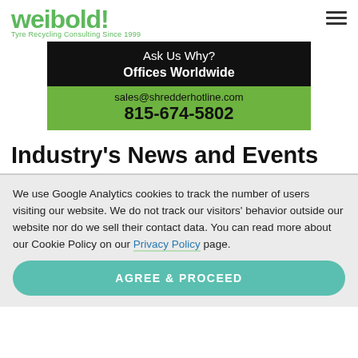weibold! Tyre Recycling Consulting Since 1999
[Figure (infographic): Advertisement banner: black top section reading 'Ask Us Why? Offices Worldwide', green bottom section with 'sales@shredderhotline.com' and '815-674-5802']
Industry's News and Events
We use Google Analytics cookies to track the number of users visiting our website. We do not track our visitors' behavior outside our website nor do we sell their contact data. You can read more about our Cookie Policy on our Privacy Policy page.
AGREE & PROCEED